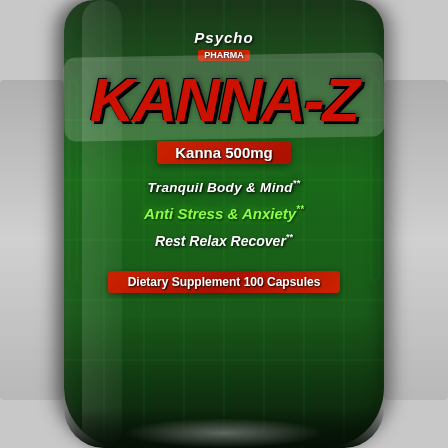[Figure (photo): Product bottle label for Psycho Pharma Kanna-Z dietary supplement. Dark green bottle with label showing brand logo at top, large stylized red 'Kanna-Z' text, red banner with 'Kanna 500mg', white text 'Tranquil Body & Mind**', green text 'Anti Stress & Anxiety**', white text 'Rest Relax Recover**', and red banner 'Dietary Supplement 100 Capsules'.]